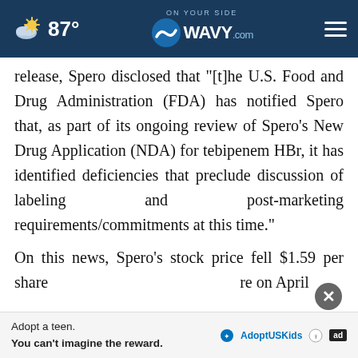87° WAVY.com
release, Spero disclosed that "[t]he U.S. Food and Drug Administration (FDA) has notified Spero that, as part of its ongoing review of Spero's New Drug Application (NDA) for tebipenem HBr, it has identified deficiencies that preclude discussion of labeling and post-marketing requirements/commitments at this time."
On this news, Spero's stock price fell $1.59 per share [approximately 18.07%] to close at $7.11 per share on April…
[Figure (other): Advertisement bar: Adopt a teen. You can't imagine the reward. AdoptUSKids logo and ad badge.]